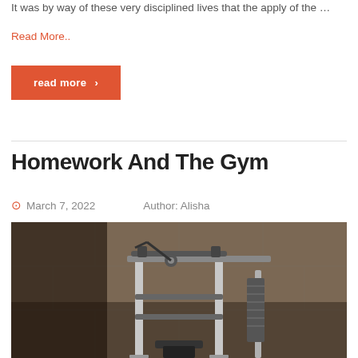It was by way of these very disciplined lives that the apply of the …
Read More..
read more ›
Homework And The Gym
March 7, 2022   Author: Alisha
[Figure (photo): A multi-functional gym machine/home gym equipment photographed against a concrete wall background, in sepia/dark tones.]